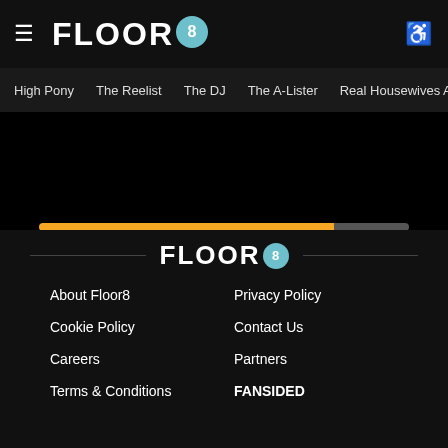FLOOR8
High Pony  The Reelist  The DJ  The A-Lister  Real Housewives Atlanta
[Figure (other): Loading progress bar with orange filled portion and grey unfilled portion]
FLOOR8 — About Floor8, Cookie Policy, Careers, Terms & Conditions, Privacy Policy, Contact Us, Partners, FANSIDED